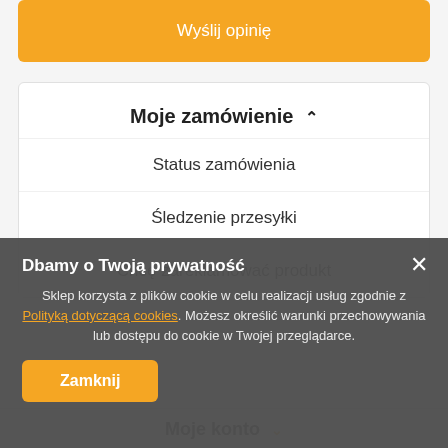Wyślij opinię
Moje zamówienie ∧
Status zamówienia
Śledzenie przesyłki
Chcę zareklamować produkt
Dbamy o Twoją prywatność
Sklep korzysta z plików cookie w celu realizacji usług zgodnie z Polityką dotyczącą cookies. Możesz określić warunki przechowywania lub dostępu do cookie w Twojej przeglądarce.
Zamknij
Moje konto ˅